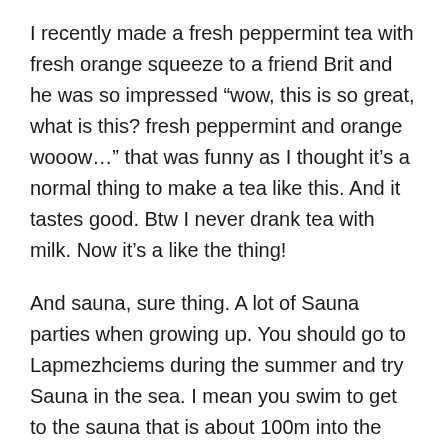I recently made a fresh peppermint tea with fresh orange squeeze to a friend Brit and he was so impressed “wow, this is so great, what is this? fresh peppermint and orange wooow…” that was funny as I thought it’s a normal thing to make a tea like this. And it tastes good. Btw I never drank tea with milk. Now it’s a like the thing!
And sauna, sure thing. A lot of Sauna parties when growing up. You should go to Lapmezhciems during the summer and try Sauna in the sea. I mean you swim to get to the sauna that is about 100m into the sea from the coast.
Also I am sure you noticed some Latvian negativity, this “everything is fucked up” attitude